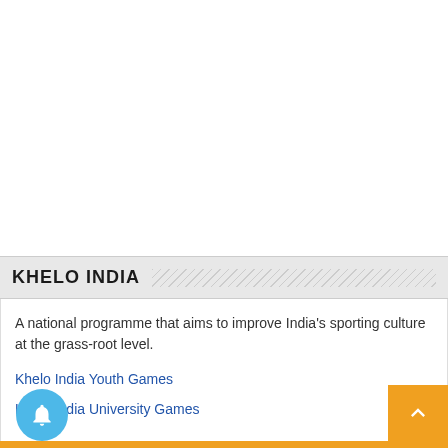KHELO INDIA
A national programme that aims to improve India's sporting culture at the grass-root level.
Khelo India Youth Games
Khelo India University Games